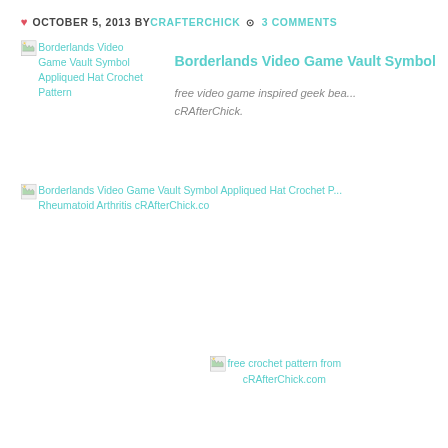OCTOBER 5, 2013 BY CRAFTERCHICK • 3 COMMENTS
[Figure (photo): Broken image placeholder for Borderlands Video Game Vault Symbol Appliqued Hat Crochet Pattern]
Borderlands Video Game Vault Symbol
free video game inspired geek bea... cRAfterChick.
[Figure (photo): Broken image placeholder for Borderlands Video Game Vault Symbol Appliqued Hat Crochet Pattern Rheumatoid Arthritis cRAfterChick.co]
[Figure (photo): Broken image placeholder - free crochet pattern from cRAfterChick.com]